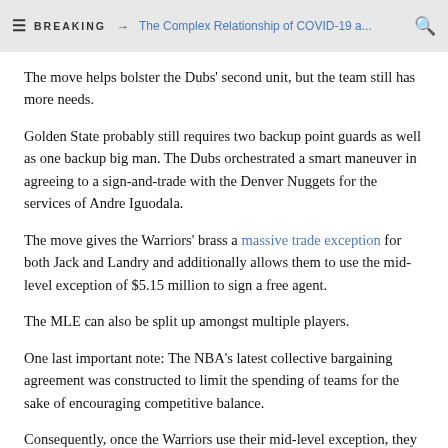BREAKING → The Complex Relationship of COVID-19 a...
The move helps bolster the Dubs' second unit, but the team still has more needs.
Golden State probably still requires two backup point guards as well as one backup big man. The Dubs orchestrated a smart maneuver in agreeing to a sign-and-trade with the Denver Nuggets for the services of Andre Iguodala.
The move gives the Warriors' brass a massive trade exception for both Jack and Landry and additionally allows them to use the mid-level exception of $5.15 million to sign a free agent.
The MLE can also be split up amongst multiple players.
One last important note: The NBA's latest collective bargaining agreement was constructed to limit the spending of teams for the sake of encouraging competitive balance.
Consequently, once the Warriors use their mid-level exception, they are not allowed to exceed the luxury tax apron. The